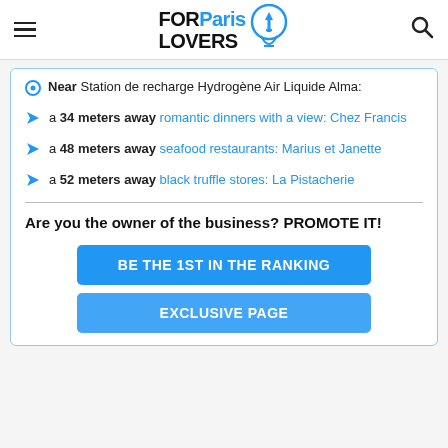FOR Paris LOVERS
Near Station de recharge Hydrogène Air Liquide Alma:
a 34 meters away romantic dinners with a view: Chez Francis
a 48 meters away seafood restaurants: Marius et Janette
a 52 meters away black truffle stores: La Pistacherie
Are you the owner of the business? PROMOTE IT!
BE THE 1ST IN THE RANKING
EXCLUSIVE PAGE